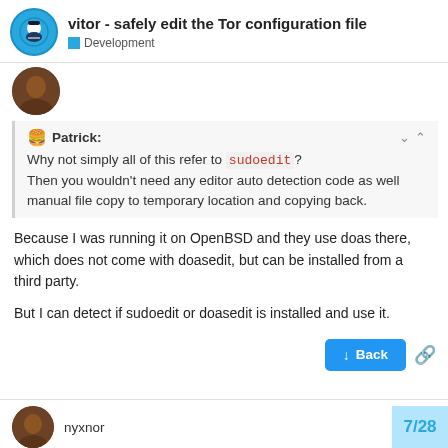vitor - safely edit the Tor configuration file — Development
Patrick:
Why not simply all of this refer to sudoedit?
Then you wouldn't need any editor auto detection code as well manual file copy to temporary location and copying back.
Because I was running it on OpenBSD and they use doas there, which does not come with doasedit, but can be installed from a third party.
But I can detect if sudoedit or doasedit is installed and use it.
nyxnor   7/28